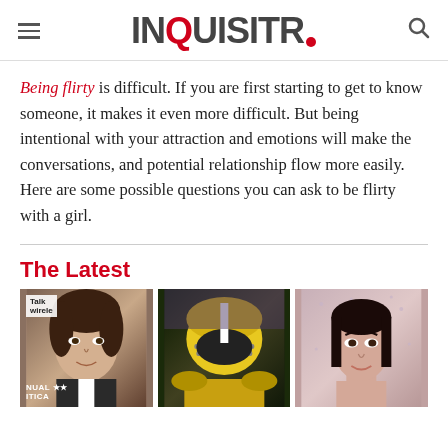INQUISITR
Being flirty is difficult. If you are first starting to get to know someone, it makes it even more difficult. But being intentional with your attraction and emotions will make the conversations, and potential relationship flow more easily. Here are some possible questions you can ask to be flirty with a girl.
The Latest
[Figure (photo): Three thumbnail images side by side: an actor at a Talk Wireless/Critics event, a Green Bay Packers football player in yellow helmet, and a young woman with dark hair against a sparkly backdrop.]